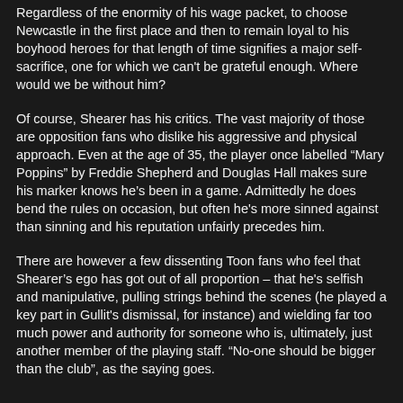Regardless of the enormity of his wage packet, to choose Newcastle in the first place and then to remain loyal to his boyhood heroes for that length of time signifies a major self-sacrifice, one for which we can't be grateful enough. Where would we be without him?
Of course, Shearer has his critics. The vast majority of those are opposition fans who dislike his aggressive and physical approach. Even at the age of 35, the player once labelled “Mary Poppins” by Freddie Shepherd and Douglas Hall makes sure his marker knows he’s been in a game. Admittedly he does bend the rules on occasion, but often he's more sinned against than sinning and his reputation unfairly precedes him.
There are however a few dissenting Toon fans who feel that Shearer’s ego has got out of all proportion – that he's selfish and manipulative, pulling strings behind the scenes (he played a key part in Gullit's dismissal, for instance) and wielding far too much power and authority for someone who is, ultimately, just another member of the playing staff. “No-one should be bigger than the club”, as the saying goes.